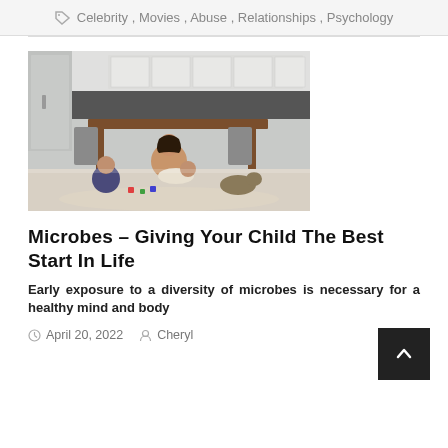Celebrity, Movies, Abuse, Relationships, Psychology
[Figure (photo): A mother sitting on the floor with two young children and a dog in a modern kitchen/dining room setting]
Microbes – Giving Your Child The Best Start In Life
Early exposure to a diversity of microbes is necessary for a healthy mind and body
April 20, 2022  Cheryl